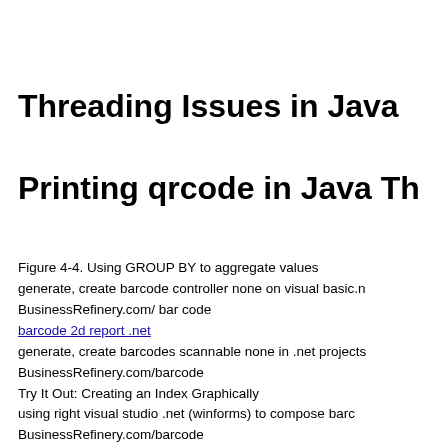Threading Issues in Java
Printing qrcode in Java Th
Figure 4-4. Using GROUP BY to aggregate values
generate, create barcode controller none on visual basic.n
BusinessRefinery.com/ bar code
barcode 2d report .net
generate, create barcodes scannable none in .net projects
BusinessRefinery.com/barcode
Try It Out: Creating an Index Graphically
using right visual studio .net (winforms) to compose barc
BusinessRefinery.com/barcode
read barcode using barcode scanner asp.net
Using Barcode scanner for stream .NET Control to read